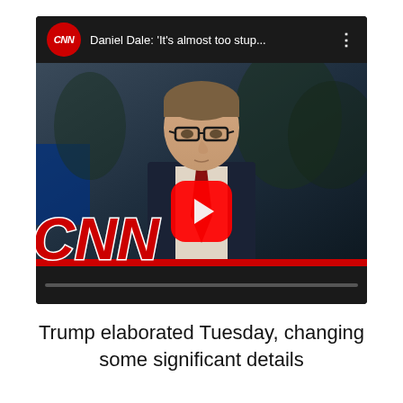[Figure (screenshot): YouTube video embed showing a CNN video thumbnail with a news anchor wearing glasses, a dark suit and red tie, with the CNN logo in the lower left. The video title reads 'Daniel Dale: It's almost too stup...' The YouTube play button is visible in the center.]
Trump elaborated Tuesday, changing some significant details